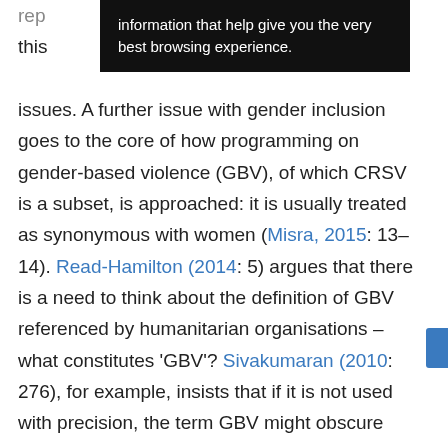[Figure (screenshot): Dark tooltip/overlay popup with white text reading: 'information that help give you the very best browsing experience.']
issues. A further issue with gender inclusion goes to the core of how programming on gender-based violence (GBV), of which CRSV is a subset, is approached: it is usually treated as synonymous with women (Misra, 2015: 13–14). Read-Hamilton (2014: 5) argues that there is a need to think about the definition of GBV referenced by humanitarian organisations – what constitutes 'GBV'? Sivakumaran (2010: 276), for example, insists that if it is not used with precision, the term GBV might obscure rather than